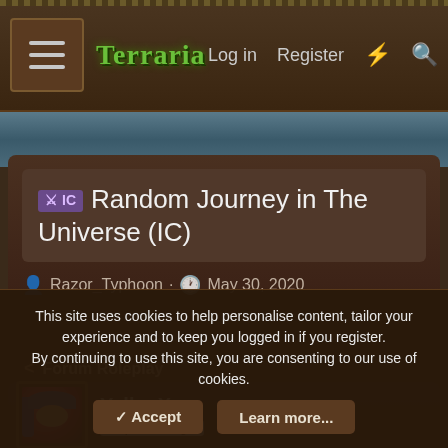Terraria — Log in   Register
IC  Random Journey in The Universe (IC)
Razor_Typhoon · May 30, 2020
< Forum Roleplay
Yello_X
Empress of Light
This site uses cookies to help personalise content, tailor your experience and to keep you logged in if you register.
By continuing to use this site, you are consenting to our use of cookies.
✓ Accept   Learn more...